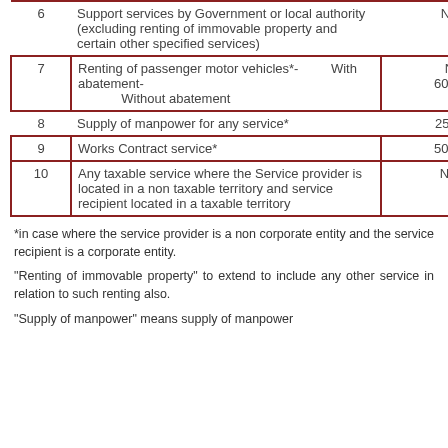| # | Description | Rate |
| --- | --- | --- |
| 6 | Support services by Government or local authority (excluding renting of immovable property and certain other specified services) | NIL |
| 7 | Renting of passenger motor vehicles*-  With abatement- Without abatement | Nil 60% |
| 8 | Supply of manpower for any service* | 25% |
| 9 | Works Contract service* | 50% |
| 10 | Any taxable service where the Service provider is located in a non taxable territory and service recipient located in a taxable territory | NIL |
*in case where the service provider is a non corporate entity and the service recipient is a corporate entity.
"Renting of immovable property" to extend to include any other service in relation to such renting also.
"Supply of manpower" means supply of manpower...